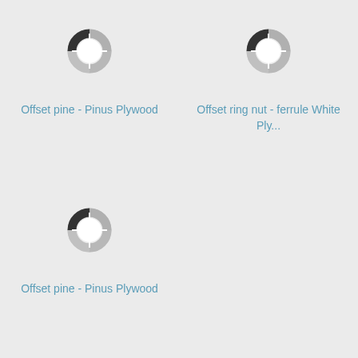[Figure (donut-chart): Small donut/ring chart with a dark segment at top-left and grey segments, white center. Represents Offset pine - Pinus Plywood.]
Offset pine - Pinus Plywood
[Figure (donut-chart): Small donut/ring chart with a dark segment at top-left and grey segments, white center. Represents Offset ring nut - ferrule White Ply...]
Offset ring nut - ferrule White Ply...
[Figure (donut-chart): Small donut/ring chart with a dark segment at top-left and grey segments, white center. Represents Offset pine - Pinus Plywood.]
Offset pine - Pinus Plywood